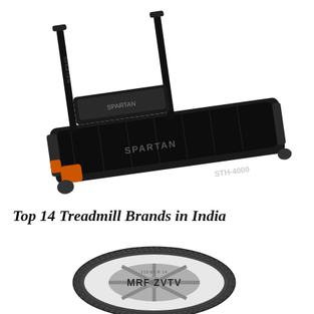[Figure (photo): A black Spartan STH-4000 treadmill with orange accents shown at an angle against a white background]
Top 14 Treadmill Brands in India
[Figure (photo): An MRF ZVTV car tyre shown from a front angle against a white background]